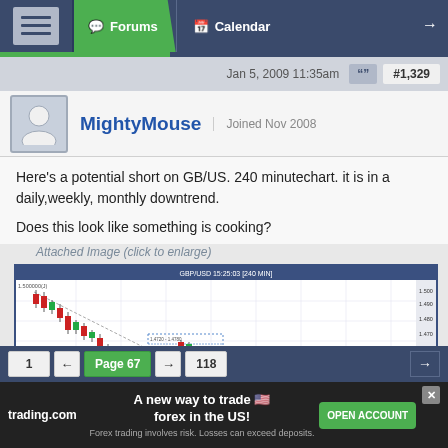Forums | Calendar
Jan 5, 2009 11:35am  #1,329
MightyMouse | Joined Nov 2008
Here's a potential short on GB/US. 240 minutechart. it is in a daily,weekly, monthly downtrend.

Does this look like something is cooking?
Attached Image (click to enlarge)
[Figure (continuous-plot): Candlestick chart showing GBP/USD 240-minute chart with a downtrend, candlestick bars in red and green, with trend lines and annotations]
1  ←  Page 67  →  118
trading.com  A new way to trade forex in the US!  OPEN ACCOUNT
Forex trading involves risk. Losses can exceed deposits.